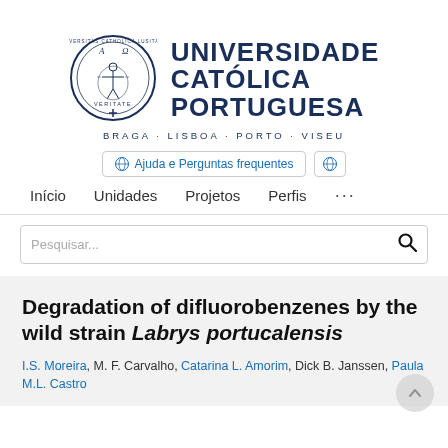[Figure (logo): Universidade Católica Portuguesa circular seal/emblem with Vitruvian man figure, text VERITATE, CATHOLICA LUSITANA around the border]
UNIVERSIDADE CATÓLICA PORTUGUESA
BRAGA · LISBOA · PORTO · VISEU
Ajuda e Perguntas frequentes
Início   Unidades   Projetos   Perfis   •••
Pesquisar...
Degradation of difluorobenzenes by the wild strain Labrys portucalensis
I.S. Moreira, M. F. Carvalho, Catarina L. Amorim, Dick B. Janssen, Paula M.L. Castro